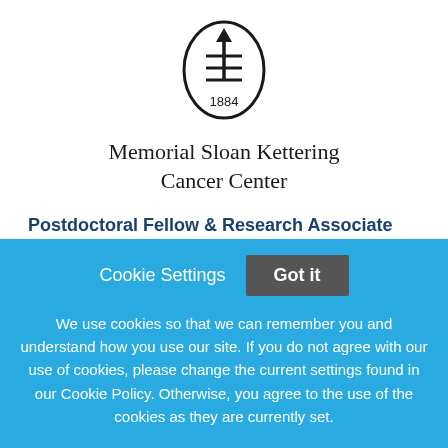[Figure (logo): Memorial Sloan Kettering Cancer Center logo — a circular emblem with an upward arrow and horizontal lines, with '1884' below the symbol, inside a circle outline.]
Memorial Sloan Kettering Cancer Center
Postdoctoral Fellow & Research Associate Positions - The Emily Cheng Lab
Memorial Sloan Kettering Cancer Center
Cookie Settings   Got it
We use cookies so that we can remember you and understand how you use our site. If you do not agree with our use of cookies, please change the current settings found in our Cookie Policy. Otherwise, you agree to the use of the cookies as they are currently set.